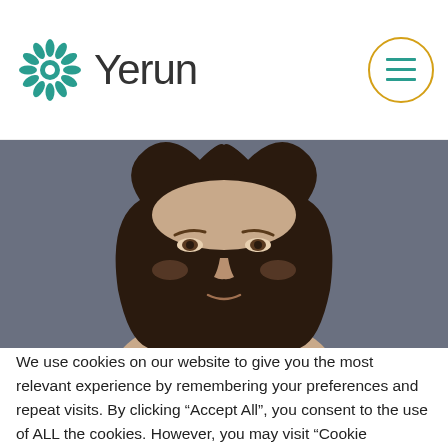[Figure (logo): Yerun logo with teal flower/sunburst icon and text 'Yerun', plus a hamburger menu button in a gold circle on the right]
[Figure (photo): Close-up portrait photo of a woman with dark hair against a dark grey background]
We use cookies on our website to give you the most relevant experience by remembering your preferences and repeat visits. By clicking “Accept All”, you consent to the use of ALL the cookies. However, you may visit “Cookie Settings” to provide a controlled consent.
Cookie Settings | Accept All